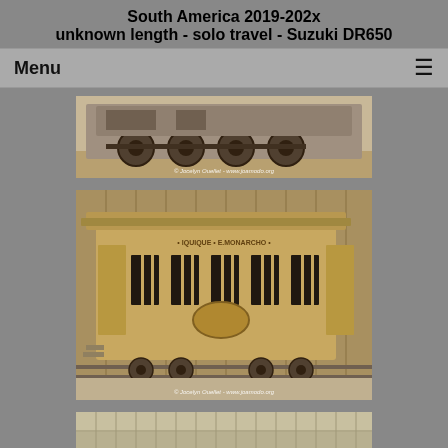South America 2019-202x
unknown length - solo travel - Suzuki DR650
Menu
[Figure (photo): Close-up of old rusted train wheels and machinery on tracks, outdoors in bright sunlight. Watermark: © Jocelyn Ouellet - www.joamodo.org]
[Figure (photo): A weathered wooden historic train passenger car on narrow gauge tracks, with text on the side reading 'IQUIQUE' and 'E.MONARCHO'. Watermark: © Jocelyn Ouellet - www.joamodo.org]
[Figure (photo): Partial view of a colorful shelf or display, cropped at the bottom of the page.]